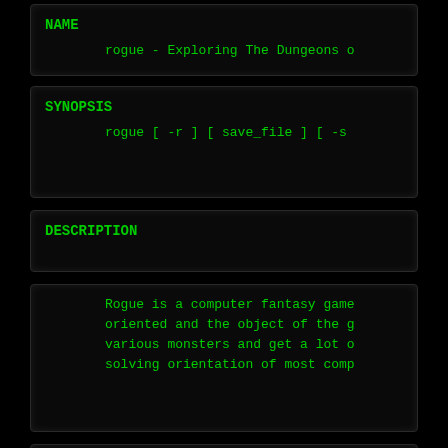NAME
rogue - Exploring The Dungeons o
SYNOPSIS
rogue [ -r ] [ save_file ] [ -s
DESCRIPTION
Rogue is a computer fantasy game oriented and the object of the g various monsters and get a lot o solving orientation of most comp
To get started you really only n command ? will give you a list o command / will identify the thin